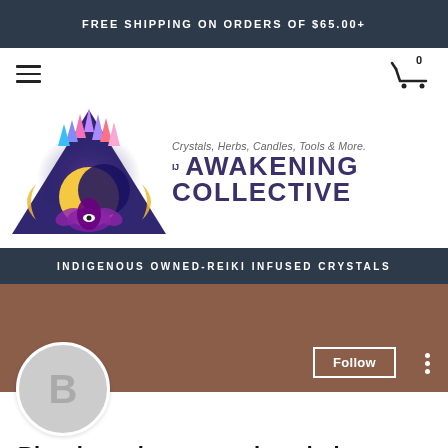FREE SHIPPING ON ORDERS OF $65.00+
[Figure (logo): The Awakening Collective logo with crystals, moon, and lotus flower. Tagline: Crystals, Herbs, Candles, Tools & More.]
INDIGENOUS OWNED-REIKI INFUSED CRYSTALS
[Figure (photo): Brown/terracotta profile cover image with user avatar showing letter B, Follow button, and more options dots]
Bicycle casino money laundering
0 Followers • 0 Following